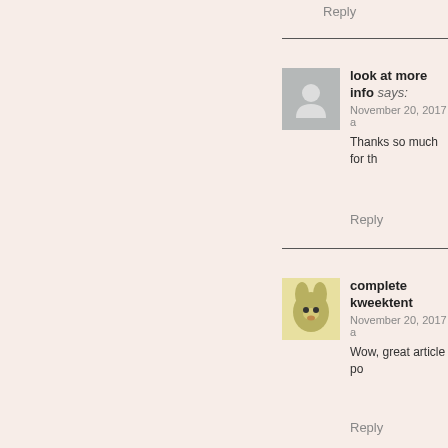Reply
look at more info says:
November 20, 2017 a
Thanks so much for th
Reply
complete kweektent says:
November 20, 2017 a
Wow, great article po
Reply
for more info says:
November 20, 2017 a